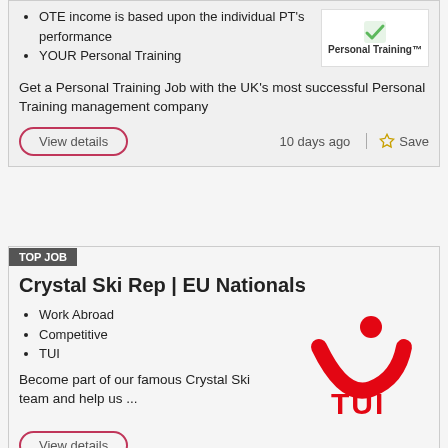OTE income is based upon the individual PT's performance
YOUR Personal Training
Get a Personal Training Job with the UK's most successful Personal Training management company
View details
10 days ago | Save
TOP JOB
Crystal Ski Rep | EU Nationals
Work Abroad
Competitive
TUI
Become part of our famous Crystal Ski team and help us ...